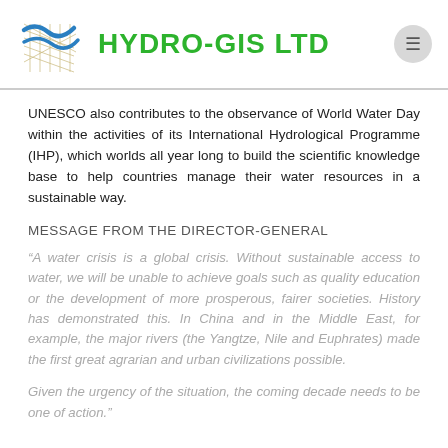HYDRO-GIS LTD
UNESCO also contributes to the observance of World Water Day within the activities of its International Hydrological Programme (IHP), which worlds all year long to build the scientific knowledge base to help countries manage their water resources in a sustainable way.
MESSAGE FROM THE DIRECTOR-GENERAL
“A water crisis is a global crisis. Without sustainable access to water, we will be unable to achieve goals such as quality education or the development of more prosperous, fairer societies. History has demonstrated this. In China and in the Middle East, for example, the major rivers (the Yangtze, Nile and Euphrates) made the first great agrarian and urban civilizations possible.
Given the urgency of the situation, the coming decade needs to be one of action.”